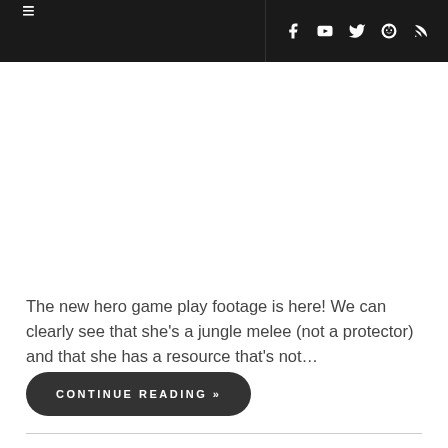≡  f  YouTube  Twitter  Reddit  RSS
The new hero game play footage is here! We can clearly see that she's a jungle melee (not a protector) and that she has a resource that's not…
CONTINUE READING »